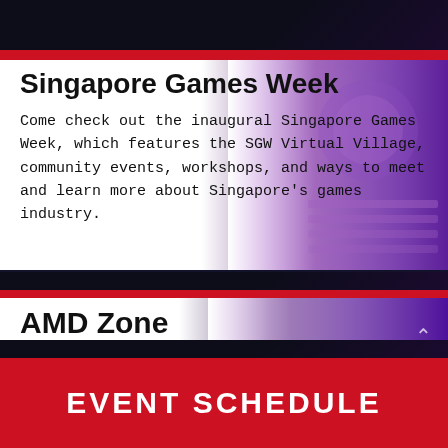Singapore Games Week
Come check out the inaugural Singapore Games Week, which features the SGW Virtual Village, community events, workshops, and ways to meet and learn more about Singapore's games industry.
AMD Zone
Gamescom Asia's Entertainment Zone is proudly powered by AMD. See what else AMD has to offer.
EVENT SCHEDULE